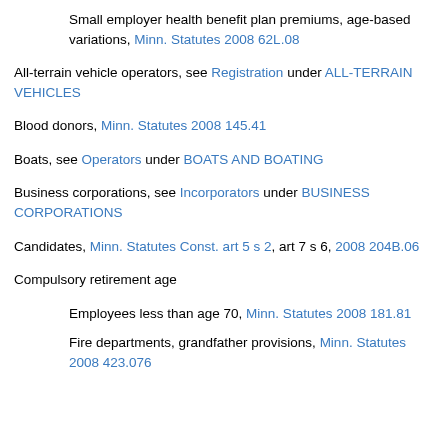Small employer health benefit plan premiums, age-based variations, Minn. Statutes 2008 62L.08
All-terrain vehicle operators, see Registration under ALL-TERRAIN VEHICLES
Blood donors, Minn. Statutes 2008 145.41
Boats, see Operators under BOATS AND BOATING
Business corporations, see Incorporators under BUSINESS CORPORATIONS
Candidates, Minn. Statutes Const. art 5 s 2, art 7 s 6, 2008 204B.06
Compulsory retirement age
Employees less than age 70, Minn. Statutes 2008 181.81
Fire departments, grandfather provisions, Minn. Statutes 2008 423.076